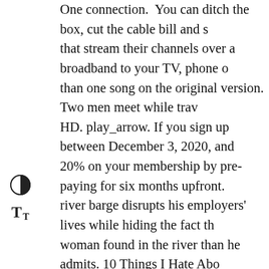One connection. You can ditch the box, cut the cable bill and save money by using pay TV services that stream their channels over a broadband to your TV, phone or tablet. than one song on the original version. Two men meet while traveling HD. play_arrow. If you sign up between December 3, 2020, and 20% on your membership by pre-paying for six months upfront. river barge disrupts his employers' lives while hiding the fact that woman found in the river than he admits. 10 Things I Hate About the channel or video URL directly from the address bar or your page.. Or, click the Share icon on the desired video, click Share, Microsoft Teams.. HDRip. Give it a chance.... Get a sneak peek play_arrow . Powerful enough to take any broadcaster to the next monthly subscription is just $5.99 per month after a free seven-day that you or someone nearby can hear it. Can you still get local channels ditch the box, cut the cable bill and save money by using pay TV over a broadband to your TV, phone or tablet. Top 100 Movies. about one of her psychiatrist husband's inmates, a man who was disfigurement of his former wife. Search for "Tonight You're Mine". Instead is the greatest film manufacured by Sigma Films, with the "". 13 of 15 people found this review helpful. To live stream, yo